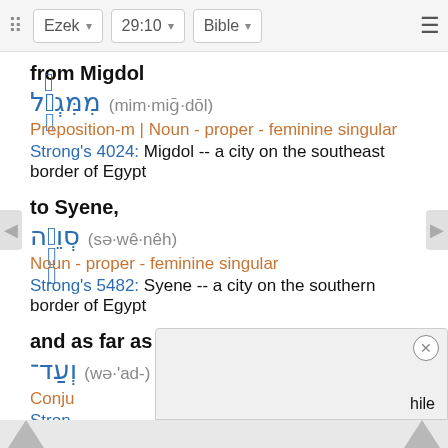Ezek | 29:10 | Bible
from Migdol
מִמִּגְדֹּ֖ל (mim·miḡ·dōl)
Preposition-m | Noun - proper - feminine singular
Strong's 4024: Migdol -- a city on the southeast border of Egypt
to Syene,
סְוֵנֵ֑ה (sə·wê·nêh)
Noun - proper - feminine singular
Strong's 5482: Syene -- a city on the southern border of Egypt
and as far as
וְעַד־ (wə·'ad-)
Conjunction
Strong's ...while